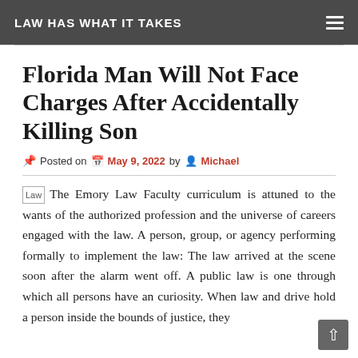LAW HAS WHAT IT TAKES
Florida Man Will Not Face Charges After Accidentally Killing Son
Posted on May 9, 2022 by Michael
The Emory Law Faculty curriculum is attuned to the wants of the authorized profession and the universe of careers engaged with the law. A person, group, or agency performing formally to implement the law: The law arrived at the scene soon after the alarm went off. A public law is one through which all persons have an curiosity. When law and drive hold a person inside the bounds of justice, they